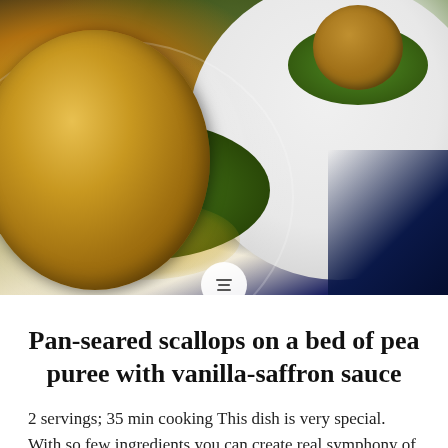[Figure (photo): Close-up photo of pan-seared scallops on a bed of bright green pea puree with butter-saffron sauce, served in white bowls on a white plate. Two servings visible, one in foreground left and one in background right. Dark navy corner visible at bottom right of the image.]
Pan-seared scallops on a bed of pea puree with vanilla-saffron sauce
2 servings; 35 min cooking This dish is very special. With so few ingredients you can create real symphony of tastes. The freshness of the scallops